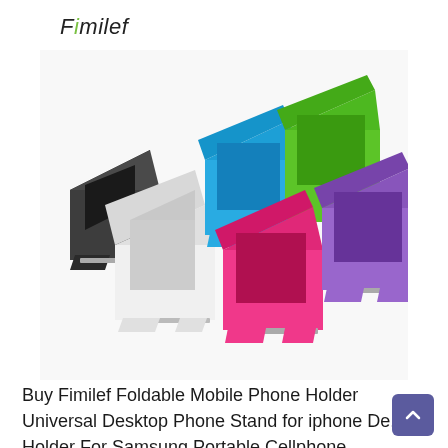Fimilef
[Figure (photo): Six colorful foldable mobile phone holder stands arranged on a white background. Colors include black, white, blue, green, pink, and purple. Each stand is a compact plastic folding desk stand for phones.]
Buy Fimilef Foldable Mobile Phone Holder Universal Desktop Phone Stand for iphone De... Holder For Samsung Portable Cellphone Support